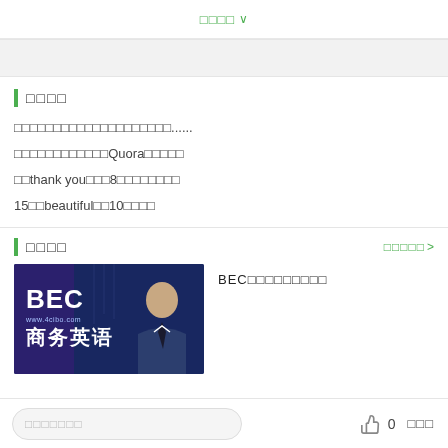□□□□ ∨
□□□□
□□□□□□□□□□□□□□□□□□□□......
□□□□□□□□□□□□Quora□□□□□
□□thank you□□□8□□□□□□□□
15□□beautiful□□10□□□□
□□□□
□□□□□ >
[Figure (photo): BEC商务英语 course thumbnail image with businessman in suit]
BEC□□□□□□□□□
□□□□□□□  👍 0  □□□